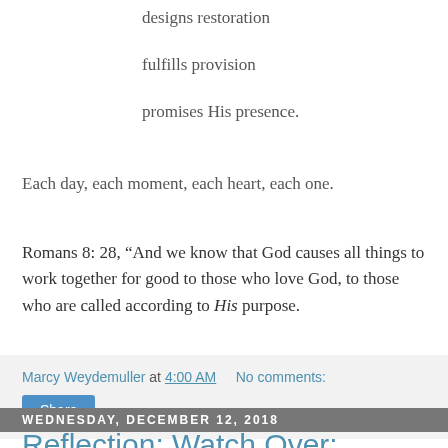designs restoration
fulfills provision
promises His presence.
Each day, each moment, each heart, each one.
Romans 8: 28, “And we know that God causes all things to work together for good to those who love God, to those who are called according to His purpose.
Marcy Weydemuller at 4:00 AM   No comments:
Share
Wednesday, December 12, 2018
Reflection: Watch Over: Grace in the